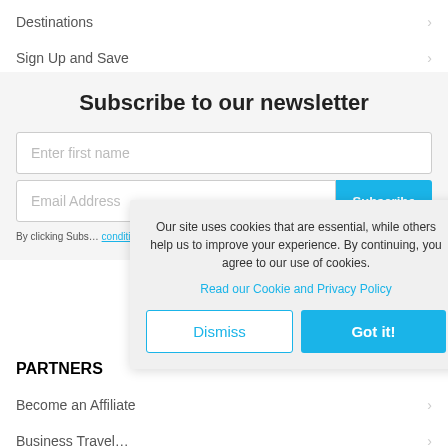Destinations
Sign Up and Save
Subscribe to our newsletter
Enter first name
Email Address
By clicking Subs... conditions.
Our site uses cookies that are essential, while others help us to improve your experience. By continuing, you agree to our use of cookies.
Read our Cookie and Privacy Policy
Dismiss
Got it!
PARTNERS
Become an Affiliate
Business Travel...